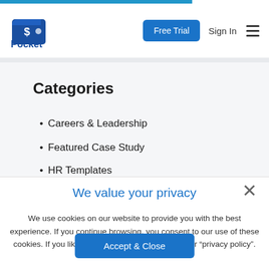[Figure (logo): Pocket HRMS logo — blue wallet icon with 'Pocket HRMS' text]
Categories
Careers & Leadership
Featured Case Study
HR Templates
We value your privacy
We use cookies on our website to provide you with the best experience. If you continue browsing, you consent to our use of these cookies. If you like to know more, take a look at our "privacy policy".
Accept & Close